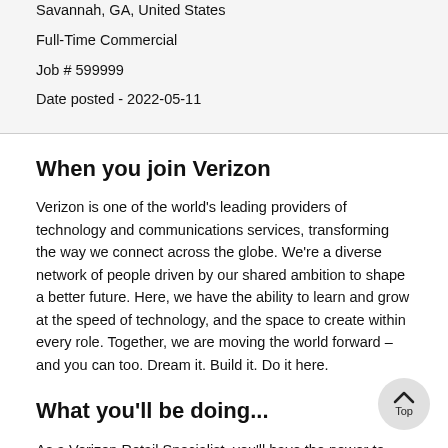Savannah, GA, United States
Full-Time Commercial
Job # 599999
Date posted - 2022-05-11
When you join Verizon
Verizon is one of the world's leading providers of technology and communications services, transforming the way we connect across the globe. We're a diverse network of people driven by our shared ambition to shape a better future. Here, we have the ability to learn and grow at the speed of technology, and the space to create within every role. Together, we are moving the world forward – and you can too. Dream it. Build it. Do it here.
What you'll be doing...
As a Verizon Retail Specialist, you'll have the power to control your own career in one of our retail stores. You'll apply your